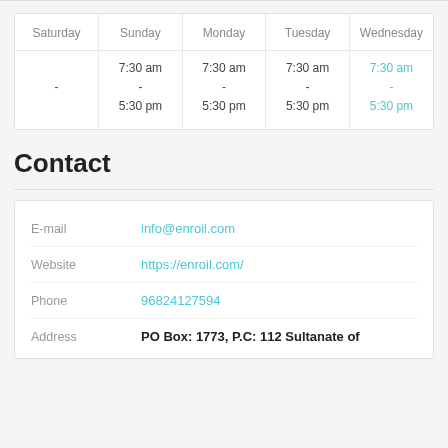| Saturday | Sunday | Monday | Tuesday | Wednesday |
| --- | --- | --- | --- | --- |
| - | 7:30 am
-
5:30 pm | 7:30 am
-
5:30 pm | 7:30 am
-
5:30 pm | 7:30 am
-
5:30 pm |
Contact
| E-mail | info@enroil.com |
| Website | https://enroil.com/ |
| Phone | 96824127594 |
| Address | PO Box: 1773, P.C: 112 Sultanate of |